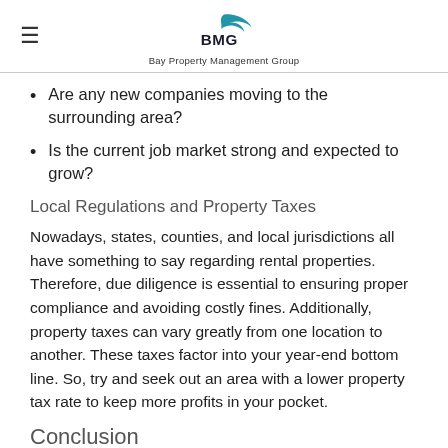BMG Bay Property Management Group
Are any new companies moving to the surrounding area?
Is the current job market strong and expected to grow?
Local Regulations and Property Taxes
Nowadays, states, counties, and local jurisdictions all have something to say regarding rental properties. Therefore, due diligence is essential to ensuring proper compliance and avoiding costly fines. Additionally, property taxes can vary greatly from one location to another. These taxes factor into your year-end bottom line. So, try and seek out an area with a lower property tax rate to keep more profits in your pocket.
Conclusion
Maryland has a lot to offer both renters and investors for